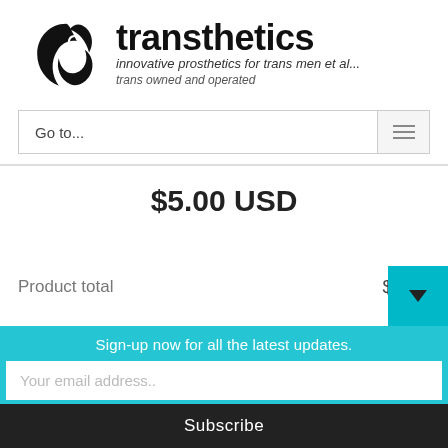[Figure (logo): Transthetics logo with stylized icon and text: 'transthetics', 'innovative prosthetics for trans men et al...', 'trans owned and operated']
Go to...
$5.00 USD
Product total	$0.00
Sign-up now for all the latest updates.
Your email address..
Subscribe